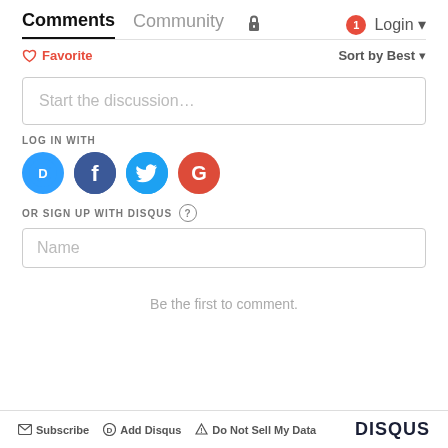Comments   Community   🔒   1   Login
♡ Favorite   Sort by Best
Start the discussion…
LOG IN WITH
[Figure (logo): Four social login icons: Disqus (blue circle with D), Facebook (dark blue circle with f), Twitter (blue circle with bird), Google (red circle with G)]
OR SIGN UP WITH DISQUS ?
Name
Be the first to comment.
Subscribe   Add Disqus   ⚠ Do Not Sell My Data   DISQUS